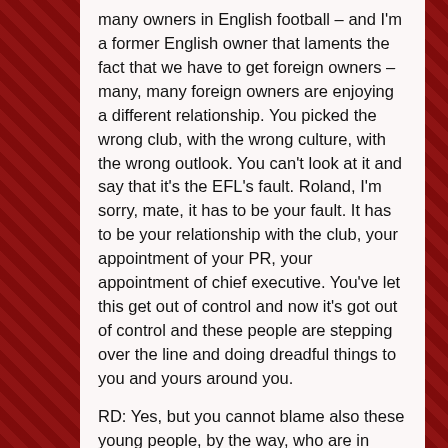many owners in English football – and I'm a former English owner that laments the fact that we have to get foreign owners – many, many foreign owners are enjoying a different relationship. You picked the wrong club, with the wrong culture, with the wrong outlook. You can't look at it and say that it's the EFL's fault. Roland, I'm sorry, mate, it has to be your fault. It has to be your relationship with the club, your appointment of your PR, your appointment of chief executive. You've let this get out of control and now it's got out of control and these people are stepping over the line and doing dreadful things to you and yours around you.
RD: Yes, but you cannot blame also these young people, by the way, who are in charge of the press. They were, in fact, those…